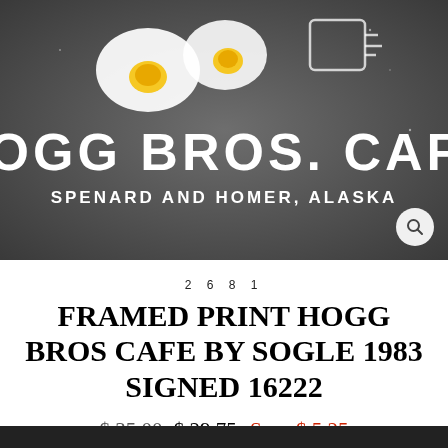[Figure (photo): Photo of Hogg Bros. Cafe sign in dark gray/charcoal color, showing illustrated fried eggs and a coffee cup at top, with white block lettering reading 'HOGG BROS. CAFE' and 'SPENARD AND HOMER, ALASKA'. A magnifying glass icon appears in the bottom right corner of the image.]
2681
FRAMED PRINT HOGG BROS CAFE BY SOGLE 1983 SIGNED 16222
$ 35.00   $ 29.75  Save $ 5.25